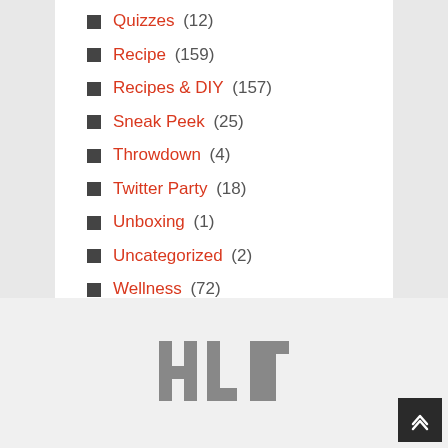Quizzes (12)
Recipe (159)
Recipes & DIY (157)
Sneak Peek (25)
Throwdown (4)
Twitter Party (18)
Unboxing (1)
Uncategorized (2)
Wellness (72)
[Figure (logo): HLN network logo in gray block letters]